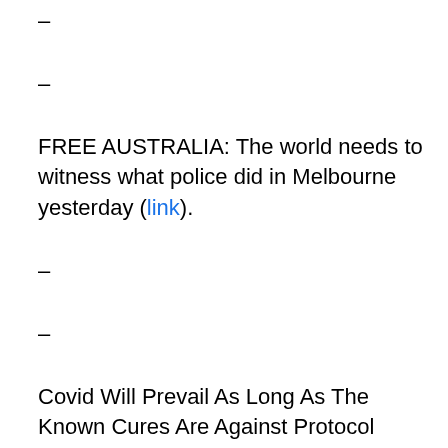–
–
FREE AUSTRALIA: The world needs to witness what police did in Melbourne yesterday (link).
–
–
Covid Will Prevail As Long As The Known Cures Are Against Protocol (link).
–
–
COVID Restrictions Literally Lowering IQs Of Children 3 Months to 3 Years Old, Causing A Rise in Suicidal